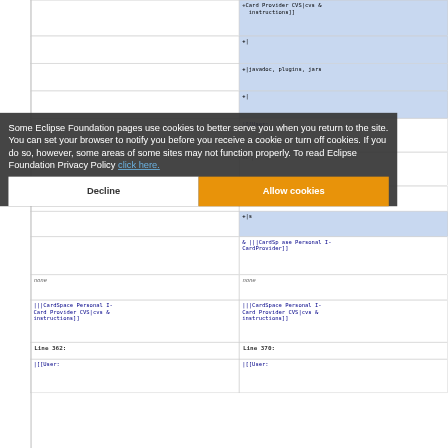[Figure (screenshot): A wiki diff view showing code changes with added lines highlighted in blue, partially obscured by a cookie consent overlay from Eclipse Foundation.]
Some Eclipse Foundation pages use cookies to better serve you when you return to the site. You can set your browser to notify you before you receive a cookie or turn off cookies. If you do so, however, some areas of some sites may not function properly. To read Eclipse Foundation Privacy Policy click here.